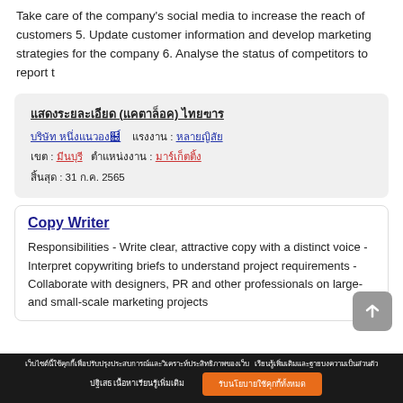Take care of the company's social media to increase the reach of customers 5. Update customer information and develop marketing strategies for the company 6. Analyse the status of competitors to report t
Thai text card with title, company info, location, deadline: 31 ก.ค. 2565
Copy Writer
Responsibilities - Write clear, attractive copy with a distinct voice - Interpret copywriting briefs to understand project requirements - Collaborate with designers, PR and other professionals on large- and small-scale marketing projects
Thai cookie consent bar with accept button